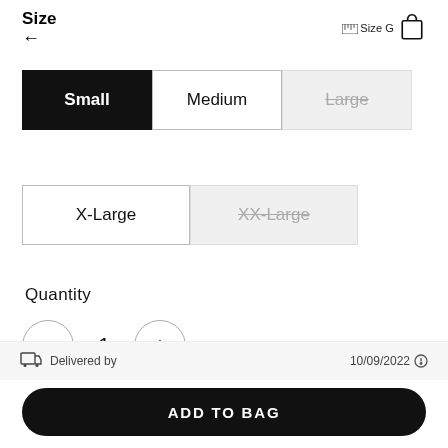Size
← (back arrow)
Size Guide (top right)
Small (selected)
Medium (available)
Large (unavailable)
X-Large (available)
XX-Large (unavailable)
Quantity
− 1 +
Delivered by    10/09/2022
ADD TO BAG